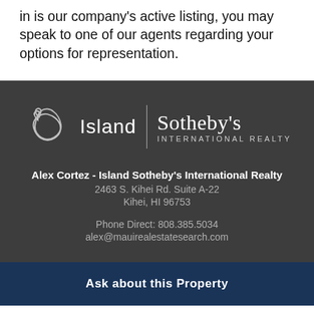in is our company's active listing, you may speak to one of our agents regarding your options for representation.
[Figure (logo): Island Sotheby's International Realty logo with Hawaii island silhouette icon]
Alex Cortez - Island Sotheby's International Realty
2463 S. Kihei Rd. Suite A-22
Kihei, HI 96753
Phone Direct: 808.385.5034
alex@mauirealestatesearch.com
Ask about this Property